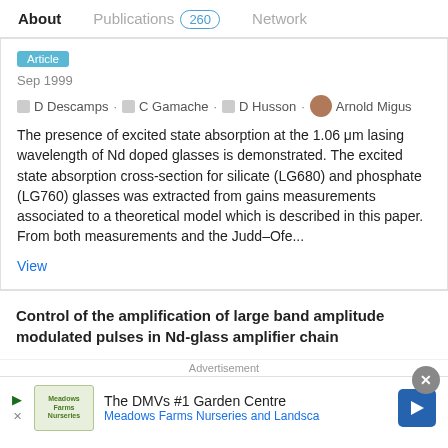About   Publications 260   Network
Article
Sep 1999
D Descamps · C Gamache · D Husson · Arnold Migus
The presence of excited state absorption at the 1.06 μm lasing wavelength of Nd doped glasses is demonstrated. The excited state absorption cross-section for silicate (LG680) and phosphate (LG760) glasses was extracted from gains measurements associated to a theoretical model which is described in this paper. From both measurements and the Judd–Ofe...
View
Control of the amplification of large band amplitude modulated pulses in Nd-glass amplifier chain
Advertisement
[Figure (infographic): Advertisement banner for Meadows Farms Nurseries and Landsca with logo and navigation arrow icon]